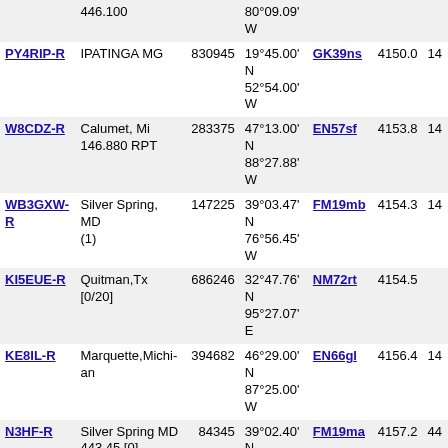| Callsign | Location | ID | Coordinates | Grid | Dist |  |
| --- | --- | --- | --- | --- | --- | --- |
|  | 446.100 |  | 80°09.09' W |  |  |  |
| PY4RIP-R | IPATINGA MG | 830945 | 19°45.00' N 52°54.00' W | GK39ns | 4150.0 | 14 |
| W8CDZ-R | Calumet, Mi 146.880 RPT | 283375 | 47°13.00' N 88°27.88' W | EN57sf | 4153.8 | 14 |
| WB3GXW-R | Silver Spring, MD (1) | 147225 | 39°03.47' N 76°56.45' W | FM19mb | 4154.3 | 14 |
| KI5EUE-R | Quitman,Tx [0/20] | 686246 | 32°47.76' N 95°27.07' E | NM72rt | 4154.5 |  |
| KE8IL-R | Marquette,Michi-an | 394682 | 46°29.00' N 87°25.00' W | EN66gl | 4156.4 | 14 |
| N3HF-R | Silver Spring MD 443.45 [0] | 84345 | 39°02.40' N 76°59.53' W | FM19ma | 4157.2 | 44 |
| N8JJO-L | Lakeport MI [0/20] | 646222 | 43°05.06' N 82°28.37' W | EN83sc | 4157.4 | 14 |
| W8VPC-L | Bellaire [0/20] | 291531 | 44°58.05' N 85°11.87' W | EN74jx | 4158.1 |  |
| W3KIT-L | Silver Spring [0/40] | 618042 | 39°02.83' N 77°02.48' W | FM19lb | 4158.6 |  |
| N3XL-R | PG County, MD ARES | 932157 | 38°56.55' N 76°58.55' W | FM18mw | 4161.3 | 14 |
| K3QY-R | Armstrong County, PA [0/25] | 393161 | 40°48.83' N 79°29.06' W | FN00gt | 4162.2 |  |
| W8VFD-R | Andover,Ohio [0/20] | 790513 | 41°36.68' N 80°34.41' W | EN91ro | 4162.5 |  |
| N3UHD-R | Hagerstown, MD 449.650 | 481682 | 39°39.44' N 77°57.51' W | FM19ap | 4162.9 | 44 |